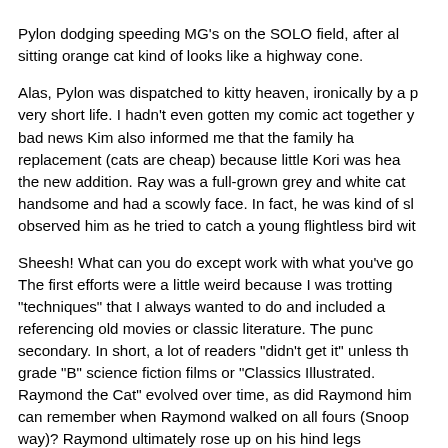Pylon dodging speeding MG's on the SOLO field, after all a sitting orange cat kind of looks like a highway cone.
Alas, Pylon was dispatched to kitty heaven, ironically by a very short life. I hadn't even gotten my comic act together y bad news Kim also informed me that the family ha replacement (cats are cheap) because little Kori was hea the new addition. Ray was a full-grown grey and white cat handsome and had a scowly face. In fact, he was kind of s observed him as he tried to catch a young flightless bird wit
Sheesh! What can you do except work with what you've go The first efforts were a little weird because I was trotting "techniques" that I always wanted to do and included a referencing old movies or classic literature. The punc secondary. In short, a lot of readers "didn't get it" unless th grade "B" science fiction films or "Classics Illustrated. Raymond the Cat" evolved over time, as did Raymond him can remember when Raymond walked on all fours (Snoop way)? Raymond ultimately rose up on his hind legs windbreaker jacket. His personality evolved into the stoic "h he is today (a sort of furry Ziggy). It is a rare occasion wh